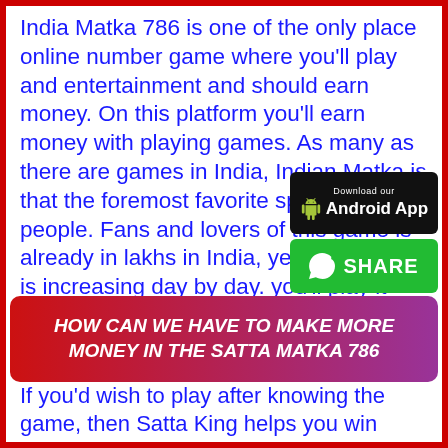India Matka 786 is one of the only place online number game where you'll play and entertainment and should earn money. On this platform you'll earn money with playing games. As many as there are games in India, Indian Matka is that the foremost favorite sport of Indian people. Fans and lovers of this game is already in lakhs in India, yet its number is increasing day by day. you'll play it online from anywhere.
[Figure (other): Download our Android App badge - black rounded rectangle with Android robot icon and text 'Download our Android App']
[Figure (other): WhatsApp Share button - green rounded rectangle with WhatsApp icon and text 'SHARE']
HOW CAN WE HAVE TO MAKE MORE MONEY IN THE SATTA MATKA 786
If you'd wish to play after knowing the game, then Satta King helps you win